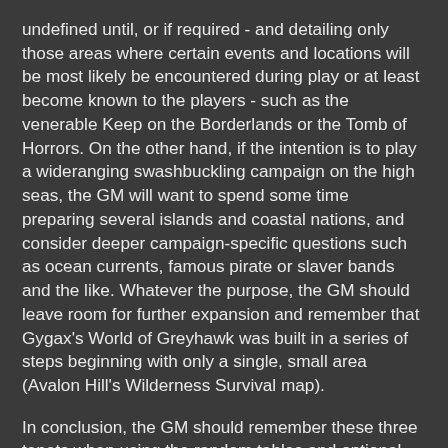undefined until, or if required - and detailing only those areas where certain events and locations will be most likely be encountered during play or at least become known to the players - such as the venerable Keep on the Borderlands or the Tomb of Horrors. On the other hand, if the intention is to play a wideranging swashbuckling campaign on the high seas, the GM will want to spend some time preparing several islands and coastal nations, and consider deeper campaign-specific questions such as ocean currents, famous pirate or slaver bands and the like. Whatever the purpose, the GM should leave room for further expansion and remember that Gygax's World of Greyhawk was built in a series of steps beginning with only a single, small area (Avalon Hill's Wilderness Survival map).
In conclusion, the GM should remember these three tenets when using the random tables and optional design tools in this book. Simply designing an entire set-piece setting as one might for a novel is not the GM's primary